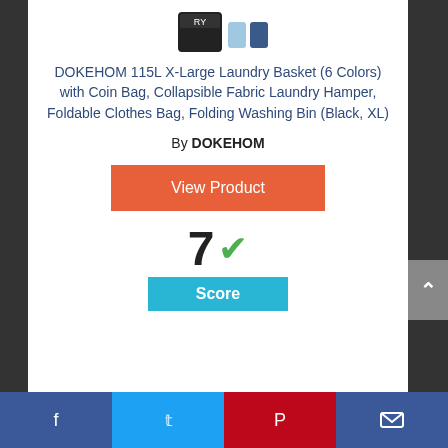[Figure (photo): Product image of DOKEHOM 115L X-Large Laundry Basket (black hamper with accessories)]
DOKEHOM 115L X-Large Laundry Basket (6 Colors) with Coin Bag, Collapsible Fabric Laundry Hamper, Foldable Clothes Bag, Folding Washing Bin (Black, XL)
By DOKEHOM
View Product
7 ✓ Score